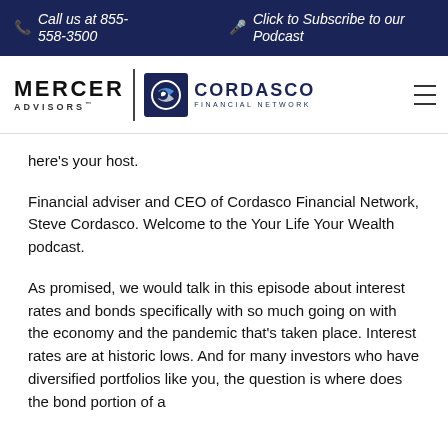Call us at 855-558-3500 | Click to Subscribe to our Podcast
[Figure (logo): Mercer Advisors logo and Cordasco Financial Network logo with hamburger menu icon]
here's your host.
Financial adviser and CEO of Cordasco Financial Network, Steve Cordasco. Welcome to the Your Life Your Wealth podcast.
As promised, we would talk in this episode about interest rates and bonds specifically with so much going on with the economy and the pandemic that's taken place. Interest rates are at historic lows. And for many investors who have diversified portfolios like you, the question is where does the bond portion of a